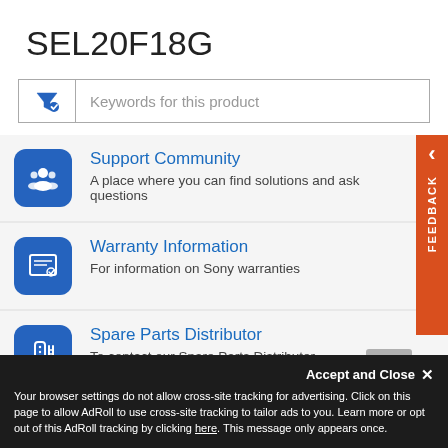SEL20F18G
[Figure (screenshot): Search filter input box with funnel icon and placeholder text 'Keywords for this product']
Support Community – A place where you can find solutions and ask questions
Warranty Information – For information on Sony warranties
Spare Parts Distributor – To contact our Spare Parts Distributor
Accept and Close ×
Your browser settings do not allow cross-site tracking for advertising. Click on this page to allow AdRoll to use cross-site tracking to tailor ads to you. Learn more or opt out of this AdRoll tracking by clicking here. This message only appears once.